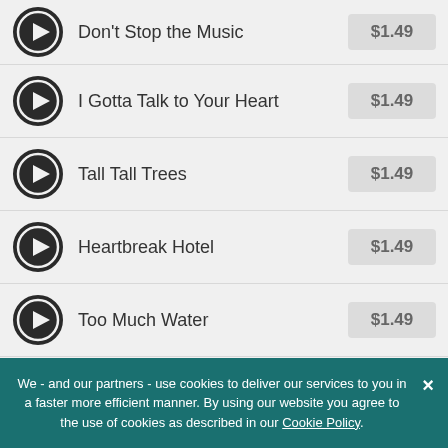Don't Stop the Music — $1.49
I Gotta Talk to Your Heart — $1.49
Tall Tall Trees — $1.49
Heartbreak Hotel — $1.49
Too Much Water — $1.49
You All Goodnight — $1.49
We - and our partners - use cookies to deliver our services to you in a faster more efficient manner. By using our website you agree to the use of cookies as described in our Cookie Policy.